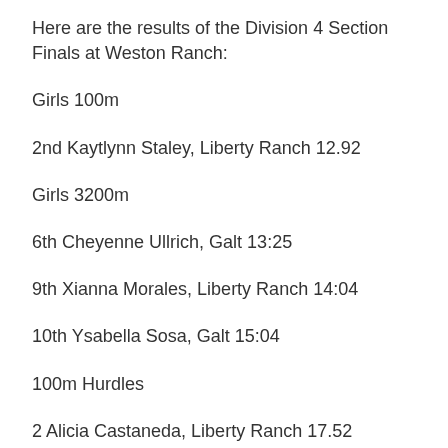Here are the results of the Division 4 Section Finals at Weston Ranch:
Girls 100m
2nd Kaytlynn Staley, Liberty Ranch 12.92
Girls 3200m
6th Cheyenne Ullrich, Galt 13:25
9th Xianna Morales, Liberty Ranch 14:04
10th Ysabella Sosa, Galt 15:04
100m Hurdles
2 Alicia Castaneda, Liberty Ranch 17.52